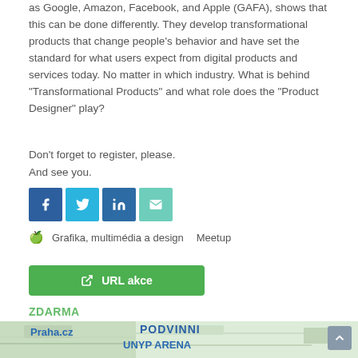as Google, Amazon, Facebook, and Apple (GAFA), shows that this can be done differently. They develop transformational products that change people's behavior and have set the standard for what users expect from digital products and services today. No matter in which industry. What is behind "Transformational Products" and what role does the "Product Designer" play?
Don't forget to register, please.
And see you.
[Figure (other): Social share buttons: Facebook (dark blue), Twitter (light blue), LinkedIn (blue), Email (teal/mint)]
🍎 Grafika, multimédia a design   Meetup
[Figure (other): Green button labeled 'URL akce' with external link icon]
ZDARMA
[Figure (map): Map showing Praha.cz area with PODVINNI label and UNYP ARENA label]